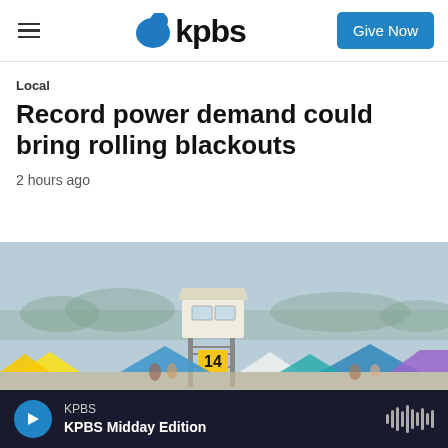KPBS
Local
Record power demand could bring rolling blackouts
2 hours ago
[Figure (photo): Beach scene with lifeguard tower number 14, colorful canopies and tents, beachgoers in the foreground, hazy sky and trees in background.]
KPBS
KPBS Midday Edition